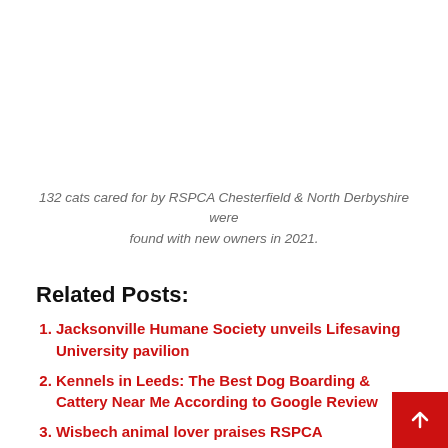132 cats cared for by RSPCA Chesterfield & North Derbyshire were found with new owners in 2021.
Related Posts:
Jacksonville Humane Society unveils Lifesaving University pavilion
Kennels in Leeds: The Best Dog Boarding & Cattery Near Me According to Google Review
Wisbech animal lover praises RSPCA apprenticeship for launching his career
RSPCA Column: Can you give Mark or Daisy a hous